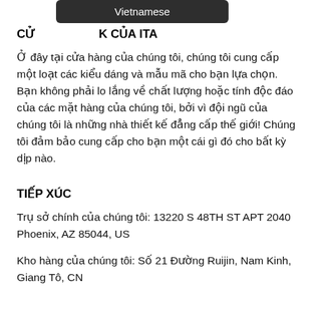CỬA HÀNG CỦA ITA
Ở đây tại cửa hàng của chúng tôi, chúng tôi cung cấp một loạt các kiểu dáng và mẫu mã cho bạn lựa chọn. Bạn không phải lo lắng về chất lượng hoặc tính độc đáo của các mặt hàng của chúng tôi, bởi vì đội ngũ của chúng tôi là những nhà thiết kế đẳng cấp thế giới! Chúng tôi đảm bảo cung cấp cho bạn một cái gì đó cho bất kỳ dịp nào.
TIẾP XÚC
Trụ sở chính của chúng tôi: 13220 S 48TH ST APT 2040 Phoenix, AZ 85044, US
Kho hàng của chúng tôi: Số 21 Đường Ruijin, Nam Kinh, Giang Tô, CN